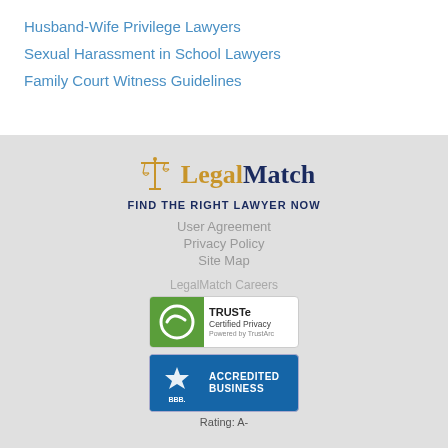Husband-Wife Privilege Lawyers
Sexual Harassment in School Lawyers
Family Court Witness Guidelines
[Figure (logo): LegalMatch logo with scales of justice icon, tagline FIND THE RIGHT LAWYER NOW]
User Agreement
Privacy Policy
Site Map
LegalMatch Careers
[Figure (logo): TRUSTe Certified Privacy badge, Powered by TrustArc]
[Figure (logo): BBB Accredited Business badge, Rating: A-]
Rating: A-